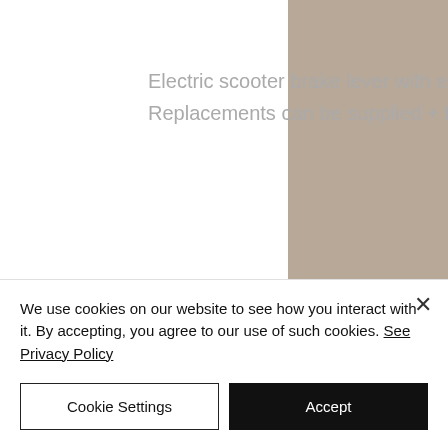Electric scooter brake lever with electric motor cut off switch. Replacements can be supplied + fitted for most scooters.
[Figure (photo): Partial photo strip showing electric scooter handlebars and components]
Xiaomi Controller Motherboard
We use cookies on our website to see how you interact with it. By accepting, you agree to our use of such cookies. See Privacy Policy
Cookie Settings
Accept